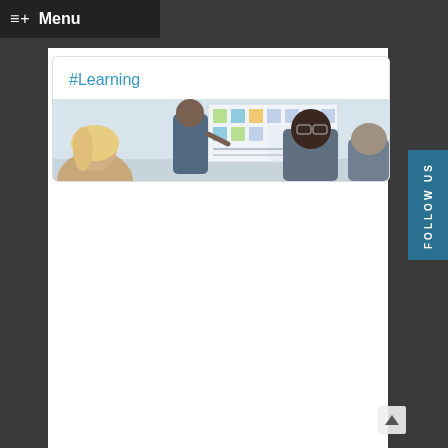Menu
#Learning
[Figure (photo): People in a meeting/workshop around a whiteboard with sticky notes]
FOLLOW US
[Figure (logo): Twitter bird icon]
[Figure (logo): LinkedIn 'in' icon]
[Figure (logo): Facebook 'f' icon]
[Figure (logo): Instagram camera icon]